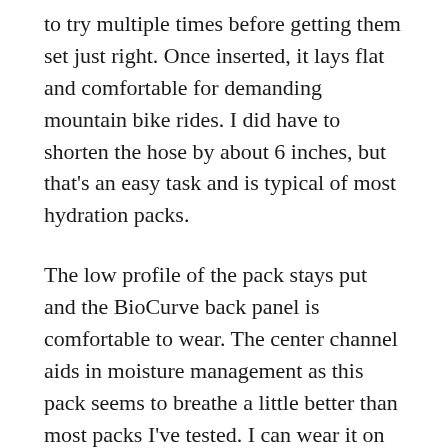to try multiple times before getting them set just right. Once inserted, it lays flat and comfortable for demanding mountain bike rides. I did have to shorten the hose by about 6 inches, but that's an easy task and is typical of most hydration packs.
The low profile of the pack stays put and the BioCurve back panel is comfortable to wear. The center channel aids in moisture management as this pack seems to breathe a little better than most packs I've tested. I can wear it on hot days and it stays comfortable under use. The curved straps seem to hug my chest well and also provide a solid platform for the pack. I think the straps could be minimized a little to add to the Summertime comfort, but as-is they did work well.
The interior of the Origin 3 is pretty simplistic with a